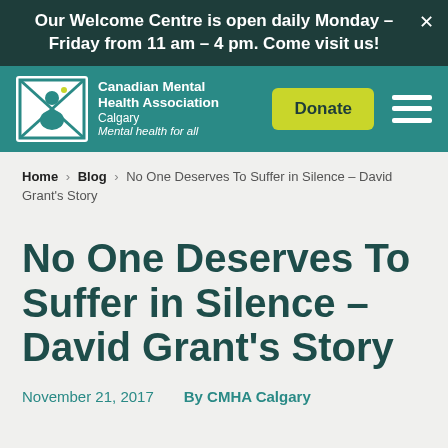Our Welcome Centre is open daily Monday – Friday from 11 am – 4 pm. Come visit us!
[Figure (logo): Canadian Mental Health Association Calgary logo with envelope/person icon, Donate button, and hamburger menu]
Home › Blog › No One Deserves To Suffer in Silence – David Grant's Story
No One Deserves To Suffer in Silence – David Grant's Story
November 21, 2017    By CMHA Calgary